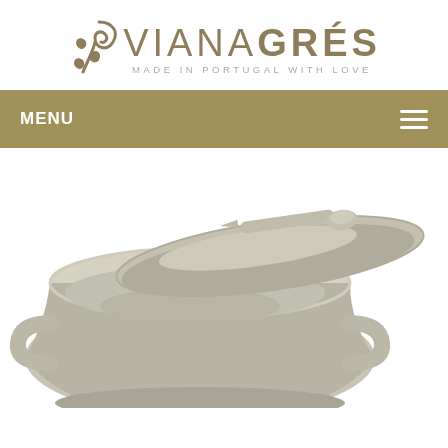[Figure (logo): Viana Grés brand logo with decorative plant/spiral icon in olive/gold color, text VIANA GRÉS in gold, tagline MADE IN PORTUGAL WITH LOVE in grey]
MENU
[Figure (photo): Close-up photo of a grey/beige stoneware ceramic soup pot with two handles and a lid with a fish-shaped handle, shown from a slightly elevated angle on white background]